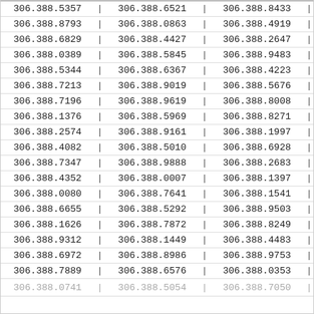| 306.388.5357 | | | 306.388.6521 | | | 306.388.8433 | | |
| 306.388.8793 | | | 306.388.0863 | | | 306.388.4919 | | |
| 306.388.6829 | | | 306.388.4427 | | | 306.388.2647 | | |
| 306.388.0389 | | | 306.388.5845 | | | 306.388.9483 | | |
| 306.388.5344 | | | 306.388.6367 | | | 306.388.4223 | | |
| 306.388.7213 | | | 306.388.9019 | | | 306.388.5676 | | |
| 306.388.7196 | | | 306.388.9619 | | | 306.388.8008 | | |
| 306.388.1376 | | | 306.388.5969 | | | 306.388.8271 | | |
| 306.388.2574 | | | 306.388.9161 | | | 306.388.1997 | | |
| 306.388.4082 | | | 306.388.5010 | | | 306.388.6928 | | |
| 306.388.7347 | | | 306.388.9888 | | | 306.388.2683 | | |
| 306.388.4352 | | | 306.388.0007 | | | 306.388.1397 | | |
| 306.388.0080 | | | 306.388.7641 | | | 306.388.1541 | | |
| 306.388.6655 | | | 306.388.5292 | | | 306.388.9503 | | |
| 306.388.1626 | | | 306.388.7872 | | | 306.388.8249 | | |
| 306.388.9312 | | | 306.388.1449 | | | 306.388.4483 | | |
| 306.388.6972 | | | 306.388.8986 | | | 306.388.9753 | | |
| 306.388.7889 | | | 306.388.6576 | | | 306.388.0353 | | |
| 306.388.0741 | | | 306.388.5054 | | | 306.388.7050 | | |